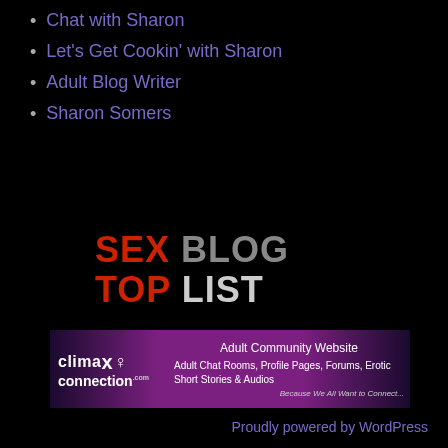Chat with Sharon
Let's Get Cookin' with Sharon
Adult Blog Writer
Sharon Somers
[Figure (logo): Sex Blog Top List logo with red and gray bold text on black background]
[Figure (infographic): Climax Connection banner advertisement for Adult Community Website featuring Adult Chat Rooms, Profile Pages, Forums, Erotic Short Stories & Audios. Tagline: Because We All Want to Connect...]
Proudly powered by WordPress